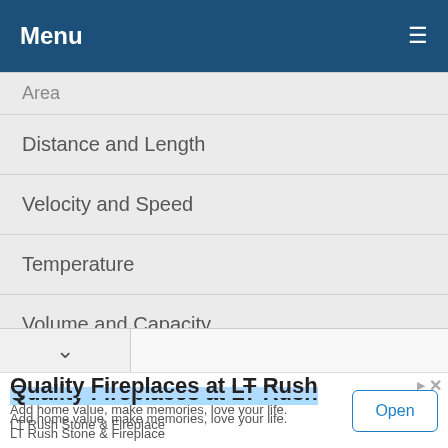Menu ≡
Area
Distance and Length
Velocity and Speed
Temperature
Volume and Capacity
Mass and Weight
Quality Fireplaces at LT Rush
Add home value, make memories, love your life.
LT Rush Stone & Fireplace